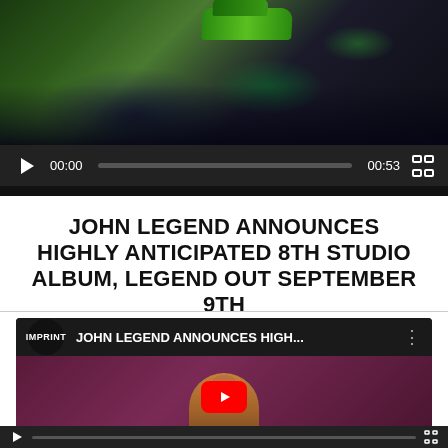[Figure (screenshot): Video player showing a crowd scene with a green car at night event. Controls show 00:00 current time and 00:53 total duration.]
JOHN LEGEND ANNOUNCES HIGHLY ANTICIPATED 8TH STUDIO ALBUM, LEGEND OUT SEPTEMBER 9TH
[Figure (screenshot): YouTube video embed with IMPRINT channel badge, title 'JOHN LEGEND ANNOUNCES HIGH...' with three-dot menu, thumbnail showing man in brown jacket against purple background with red YouTube play button overlay.]